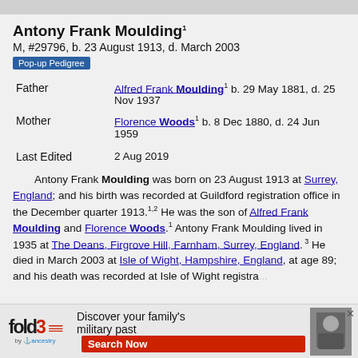Antony Frank Moulding¹
M, #29796, b. 23 August 1913, d. March 2003
| Father | Alfred Frank Moulding¹ b. 29 May 1881, d. 25 Nov 1937 |
| Mother | Florence Woods¹ b. 8 Dec 1880, d. 24 Jun 1959 |
| Last Edited | 2 Aug 2019 |
Antony Frank Moulding was born on 23 August 1913 at Surrey, England; and his birth was recorded at Guildford registration office in the December quarter 1913.¹·² He was the son of Alfred Frank Moulding and Florence Woods.¹ Antony Frank Moulding lived in 1935 at The Deans, Firgrove Hill, Farnham, Surrey, England.³ He died in March 2003 at Isle of Wight, Hampshire, England, at age 89; and his death was recorded at Isle of Wight registration at Isle of Wight England
[Figure (other): fold3 advertisement banner - Discover your family's military past]